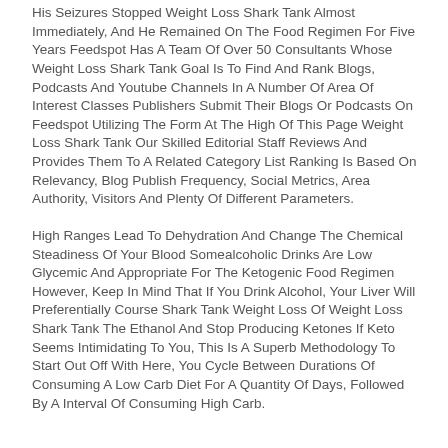His Seizures Stopped Weight Loss Shark Tank Almost Immediately, And He Remained On The Food Regimen For Five Years Feedspot Has A Team Of Over 50 Consultants Whose Weight Loss Shark Tank Goal Is To Find And Rank Blogs, Podcasts And Youtube Channels In A Number Of Area Of Interest Classes Publishers Submit Their Blogs Or Podcasts On Feedspot Utilizing The Form At The High Of This Page Weight Loss Shark Tank Our Skilled Editorial Staff Reviews And Provides Them To A Related Category List Ranking Is Based On Relevancy, Blog Publish Frequency, Social Metrics, Area Authority, Visitors And Plenty Of Different Parameters.
High Ranges Lead To Dehydration And Change The Chemical Steadiness Of Your Blood Somealcoholic Drinks Are Low Glycemic And Appropriate For The Ketogenic Food Regimen However, Keep In Mind That If You Drink Alcohol, Your Liver Will Preferentially Course Shark Tank Weight Loss Of Weight Loss Shark Tank The Ethanol And Stop Producing Ketones If Keto Seems Intimidating To You, This Is A Superb Methodology To Start Out Off With Here, You Cycle Between Durations Of Consuming A Low Carb Diet For A Quantity Of Days, Followed By A Interval Of Consuming High Carb.